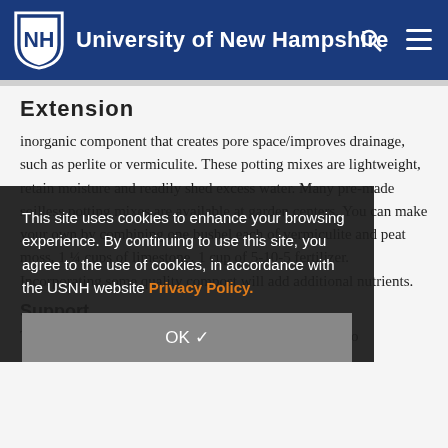University of New Hampshire
Extension
inorganic component that creates pore space/improves drainage, such as perlite or vermiculite. These potting mixes are lightweight, retain moisture and readily shed excess water. Many pre-made soilless potting mixes are available at garden centers. You can make your own by combining one bushel each of vermiculite and peat moss, 1 ¼ cups of limestone, 1 cup of 5-10-5 fertilizer. Incorporating some quality compost will add additional nutrients.
Support
Tomatoes grown in containers usually require support to
This site uses cookies to enhance your browsing experience. By continuing to use this site, you agree to the use of cookies, in accordance with the USNH website Privacy Policy.